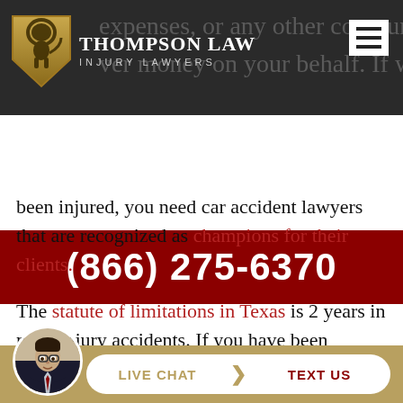Thompson Law Injury Lawyers
(866) 275-6370
been injured, you need car accident lawyers that are recognized as champions for their clients.
The statute of limitations in Texas is 2 years in most injury accidents. If you have been injured in an accident, call our experienced car accident lawyers today for a ZERO COST, NO-
[Figure (screenshot): Bottom chat bar with avatar photo of a man in suit, Live Chat and Text Us buttons on gold background]